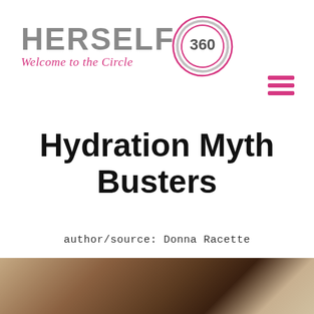[Figure (logo): HERSELF 360 logo with circular graphic and tagline 'Welcome to the Circle']
Hydration Myth Busters
author/source: Donna Racette
[Figure (photo): Photo of a shower or bathroom scene, dark tones with light reflections]